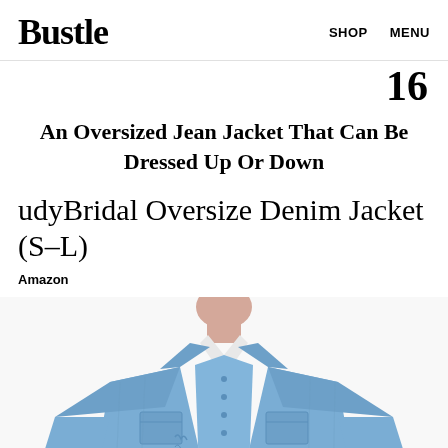Bustle   SHOP   MENU
16
An Oversized Jean Jacket That Can Be Dressed Up Or Down
udyBridal Oversize Denim Jacket (S–L)
Amazon
[Figure (photo): A person wearing an oversized light blue distressed denim jacket over a white top, shown from the neck down. The person has dark hair and the jacket has chest pockets and button details.]